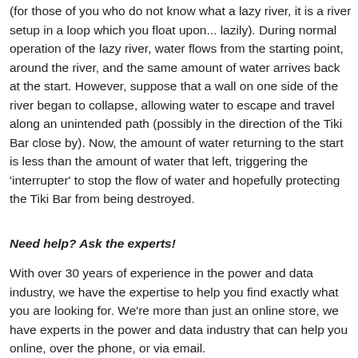(for those of you who do not know what a lazy river, it is a river setup in a loop which you float upon... lazily). During normal operation of the lazy river, water flows from the starting point, around the river, and the same amount of water arrives back at the start. However, suppose that a wall on one side of the river began to collapse, allowing water to escape and travel along an unintended path (possibly in the direction of the Tiki Bar close by). Now, the amount of water returning to the start is less than the amount of water that left, triggering the 'interrupter' to stop the flow of water and hopefully protecting the Tiki Bar from being destroyed.
Need help? Ask the experts!
With over 30 years of experience in the power and data industry, we have the expertise to help you find exactly what you are looking for. We're more than just an online store, we have experts in the power and data industry that can help you online, over the phone, or via email.